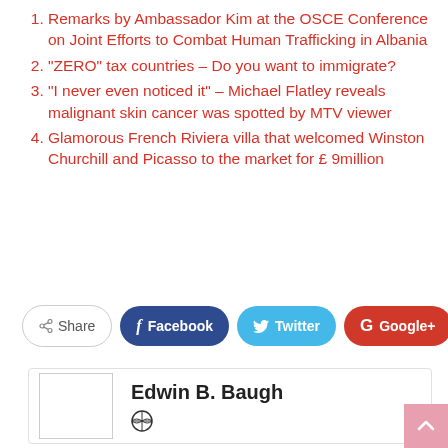Remarks by Ambassador Kim at the OSCE Conference on Joint Efforts to Combat Human Trafficking in Albania
“ZERO” tax countries – Do you want to immigrate?
“I never even noticed it” – Michael Flatley reveals malignant skin cancer was spotted by MTV viewer
Glamorous French Riviera villa that welcomed Winston Churchill and Picasso to the market for £ 9million
Share  Facebook  Twitter  Google+  +
Edwin B. Baugh